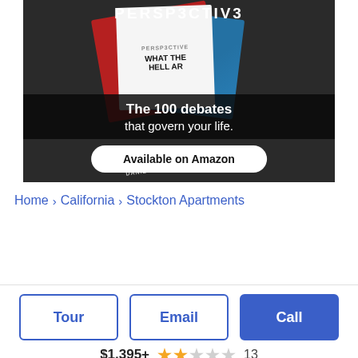[Figure (photo): Advertisement banner for a book called PERSPECTIVE – 'What the Hell Are...' The 100 debates that govern your life. Available on Amazon. By Daniel Ravner.]
Home > California > Stockton Apartments
Tour | Email | Call
$1,395+ ★★☆☆☆ 13